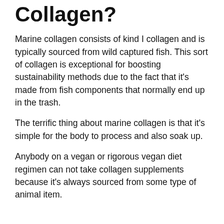Collagen?
Marine collagen consists of kind I collagen and is typically sourced from wild captured fish. This sort of collagen is exceptional for boosting sustainability methods due to the fact that it's made from fish components that normally end up in the trash.
The terrific thing about marine collagen is that it's simple for the body to process and also soak up.
Anybody on a vegan or rigorous vegan diet regimen can not take collagen supplements because it's always sourced from some type of animal item.